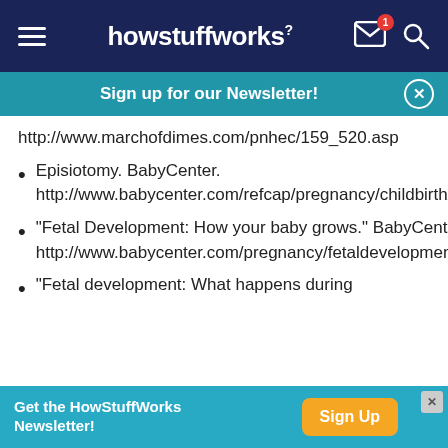howstuffworks
Sign up for our Newsletter!
http://www.marchofdimes.com/pnhec/159_520.asp
Episiotomy. BabyCenter. http://www.babycenter.com/refcap/pregnancy/childbirth/165.html
"Fetal Development: How your baby grows." BabyCenter. http://www.babycenter.com/pregnancy/fetaldevelopment/index
"Fetal development: What happens during
Get the HowStuffWorks Newsletter!